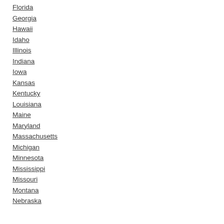Florida
Georgia
Hawaii
Idaho
Illinois
Indiana
Iowa
Kansas
Kentucky
Louisiana
Maine
Maryland
Massachusetts
Michigan
Minnesota
Mississippi
Missouri
Montana
Nebraska